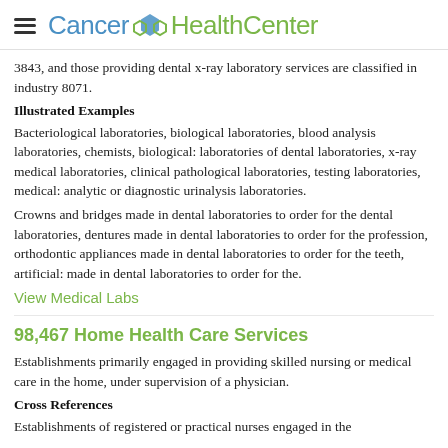Cancer HealthCenter
3843, and those providing dental x-ray laboratory services are classified in industry 8071.
Illustrated Examples
Bacteriological laboratories, biological laboratories, blood analysis laboratories, chemists, biological: laboratories of dental laboratories, x-ray medical laboratories, clinical pathological laboratories, testing laboratories, medical: analytic or diagnostic urinalysis laboratories.
Crowns and bridges made in dental laboratories to order for the dental laboratories, dentures made in dental laboratories to order for the profession, orthodontic appliances made in dental laboratories to order for the teeth, artificial: made in dental laboratories to order for the.
View Medical Labs
98,467 Home Health Care Services
Establishments primarily engaged in providing skilled nursing or medical care in the home, under supervision of a physician.
Cross References
Establishments of registered or practical nurses engaged in the